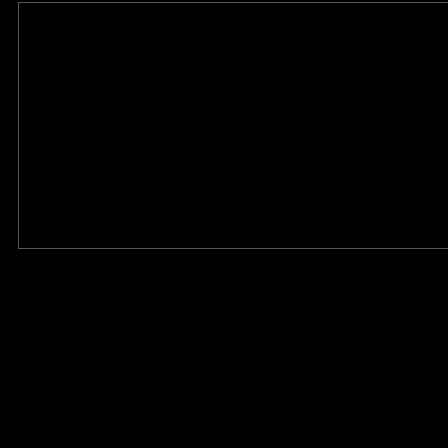[Figure (photo): Dark/black image placeholder box with thin border on left side of page]
Alexandria, early Christian mystic... system of the Kabbalah, The Indian... Egyptian "Book of the Master of t... the genetic code of "Eleven", Nan... Klong label. "Eleven" has it all: th... audiophile finesse that makes Na... attitude and a lot of knowledge ar... massive ride that never sounds w...
The opener "Zizou" is setting the ... the senses. Shaky bass quakes la... of all times. Sassily fading in: the ... to leave the club. It's virtually imp...
Shimmering like the patina of a ci... trancey pads - is "Seven Hours". ... "Train 2 Tehran" works on a simila... stomping, this train cannot be sto...
"Who Knows" raises a lot of ques... release through hair raising bass ... Eyerer who is also half way respo... most talented producers, and Ste... album. Slowly building up, the utte... you inside out while the sparkly sy... down and creates a funky mayhe... excursion of thoughtfulness, expl... end.
Listen
[Figure (other): Audio player box, dark background]